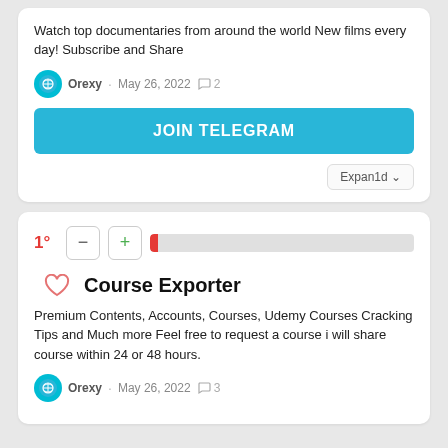Watch top documentaries from around the world New films every day! Subscribe and Share
Orexy · May 26, 2022 · 2 comments
[Figure (other): JOIN TELEGRAM button in cyan/teal blue]
Expan1d
1° vote row with minus and plus buttons and progress bar
Course Exporter
Premium Contents, Accounts, Courses, Udemy Courses Cracking Tips and Much more Feel free to request a course i will share course within 24 or 48 hours.
Orexy · May 26, 2022 · 3 comments